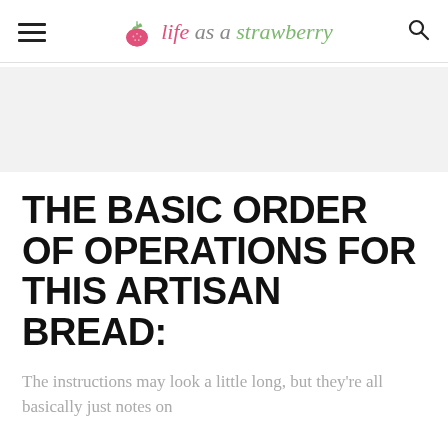life as a strawberry
[Figure (other): Gray advertisement banner placeholder]
THE BASIC ORDER OF OPERATIONS FOR THIS ARTISAN BREAD:
The instructions may look a little long, but they're all basically just notes on